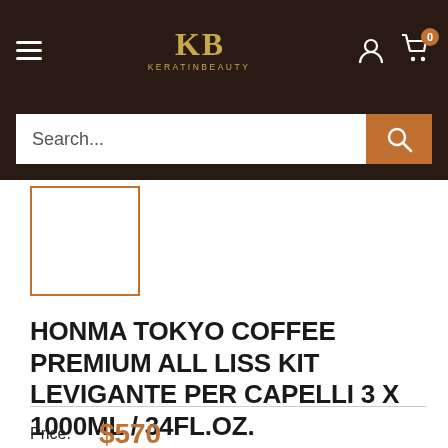KERATINBEAUTY
[Figure (screenshot): Product thumbnail placeholder box with orange border]
HONMA TOKYO COFFEE PREMIUM ALL LISS KIT LEVIGANTE PER CAPELLI 3 X 1000ml / 34fl.oz.
Price: $570